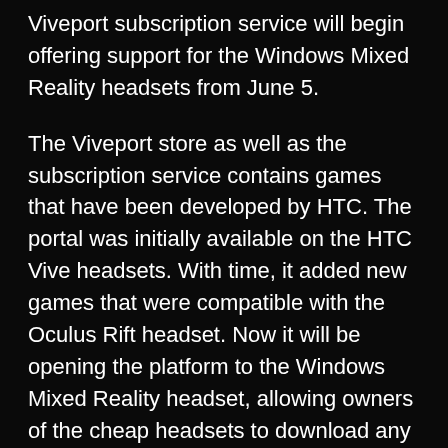Viveport subscription service will begin offering support for the Windows Mixed Reality headsets from June 5.
The Viveport store as well as the subscription service contains games that have been developed by HTC. The portal was initially available on the HTC Vive headsets. With time, it added new games that were compatible with the Oculus Rift headset. Now it will be opening the platform to the Windows Mixed Reality headset, allowing owners of the cheap headsets to download any compatible games.